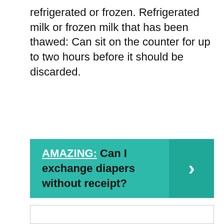refrigerated or frozen. Refrigerated milk or frozen milk that has been thawed: Can sit on the counter for up to two hours before it should be discarded.
[Figure (infographic): Teal banner with bold text reading 'AMAZING: Can I exchange diapers without receipt?' and a right-arrow chevron on the right side in a darker teal box.]